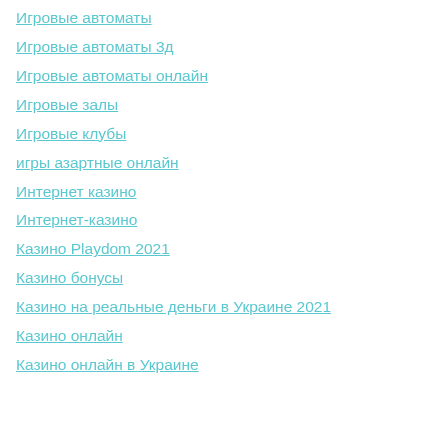Игровые автоматы
Игровые автоматы 3д
Игровые автоматы онлайн
Игровые залы
Игровые клубы
игры азартные онлайн
Интернет казино
Интернет-казино
Казино Playdom 2021
Казино бонусы
Казино на реальные деньги в Украине 2021
Казино онлайн
Казино онлайн в Украине